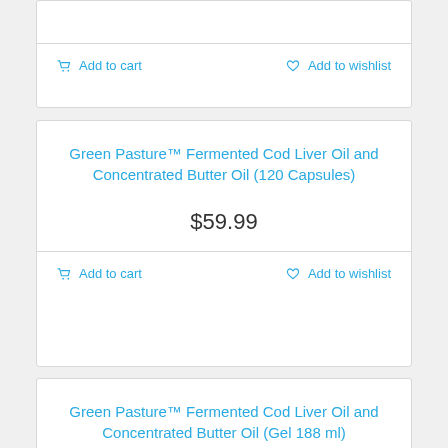Add to cart   Add to wishlist
Green Pasture™ Fermented Cod Liver Oil and Concentrated Butter Oil (120 Capsules)
$59.99
Add to cart   Add to wishlist
Green Pasture™ Fermented Cod Liver Oil and Concentrated Butter Oil (Gel 188 ml)
$59.99